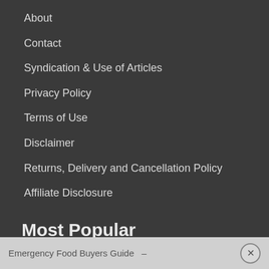About
Contact
Syndication & Use of Articles
Privacy Policy
Terms of Use
Disclaimer
Returns, Delivery and Cancellation Policy
Affiliate Disclosure
Most Popular
New? Start Here.
12 Months of Prepping
Emergency Food Buyers Guide